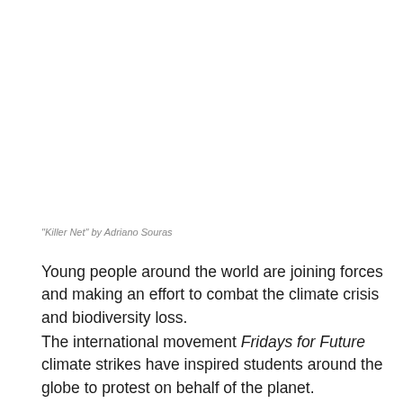“Killer Net” by Adriano Souras
Young people around the world are joining forces and making an effort to combat the climate crisis and biodiversity loss.
The international movement Fridays for Future climate strikes have inspired students around the globe to protest on behalf of the planet.